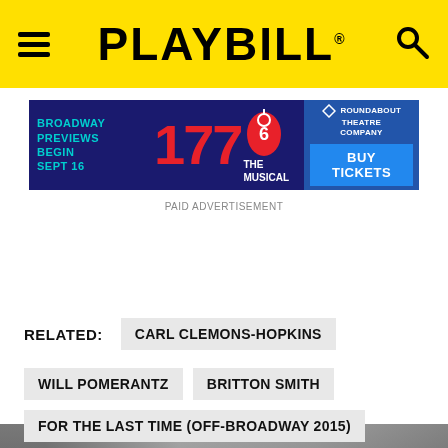PLAYBILL
[Figure (infographic): Advertisement banner for 1776 The Musical at Roundabout Theatre Company. Text reads: BROADWAY PREVIEWS BEGIN SEPT 16 / 1776 THE MUSICAL / ROUNDABOUT THEATRE COMPANY / BUY TICKETS]
PAID ADVERTISEMENT
[Figure (photo): Partial photo strip showing people, mostly obscured by dark overlay at bottom]
RELATED: CARL CLEMONS-HOPKINS
WILL POMERANTZ   BRITTON SMITH
FOR THE LAST TIME (OFF-BROADWAY 2015)